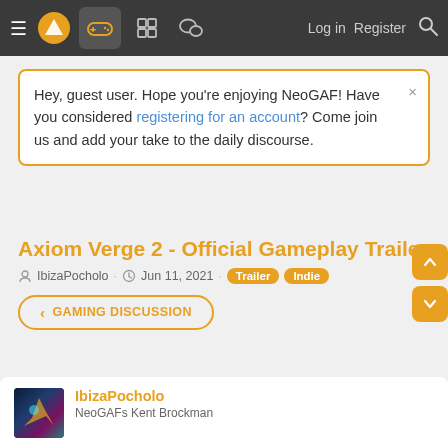NeoGAF navigation bar with hamburger menu, logo, gaming icon, board icon, forum icon, Log in, Register, Search
Hey, guest user. Hope you're enjoying NeoGAF! Have you considered registering for an account? Come join us and add your take to the daily discourse.
Axiom Verge 2 - Official Gameplay Trailer
IbizaPocholo · Jun 11, 2021 · Trailer Indie
< GAMING DISCUSSION
IbizaPocholo
NeoGAFs Kent Brockman